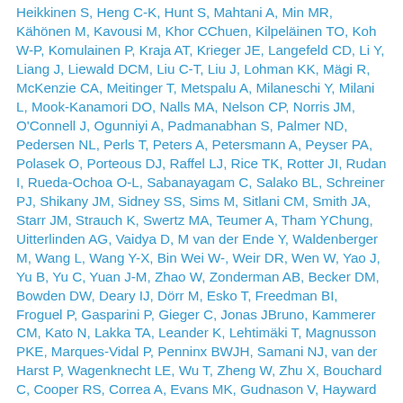Heikkinen S, Heng C-K, Hunt S, Mahtani A, Min MR, Kähönen M, Kavousi M, Khor CChuen, Kilpeläinen TO, Koh W-P, Komulainen P, Kraja AT, Krieger JE, Langefeld CD, Li Y, Liang J, Liewald DCM, Liu C-T, Liu J, Lohman KK, Mägi R, McKenzie CA, Meitinger T, Metspalu A, Milaneschi Y, Milani L, Mook-Kanamori DO, Nalls MA, Nelson CP, Norris JM, O'Connell J, Ogunniyi A, Padmanabhan S, Palmer ND, Pedersen NL, Perls T, Peters A, Petersmann A, Peyser PA, Polasek O, Porteous DJ, Raffel LJ, Rice TK, Rotter JI, Rudan I, Rueda-Ochoa O-L, Sabanayagam C, Salako BL, Schreiner PJ, Shikany JM, Sidney SS, Sims M, Sitlani CM, Smith JA, Starr JM, Strauch K, Swertz MA, Teumer A, Tham YChung, Uitterlinden AG, Vaidya D, M van der Ende Y, Waldenberger M, Wang L, Wang Y-X, Bin Wei W-, Weir DR, Wen W, Yao J, Yu B, Yu C, Yuan J-M, Zhao W, Zonderman AB, Becker DM, Bowden DW, Deary IJ, Dörr M, Esko T, Freedman BI, Froguel P, Gasparini P, Gieger C, Jonas JBruno, Kammerer CM, Kato N, Lakka TA, Leander K, Lehtimäki T, Magnusson PKE, Marques-Vidal P, Penninx BWJH, Samani NJ, van der Harst P, Wagenknecht LE, Wu T, Zheng W, Zhu X, Bouchard C, Cooper RS, Correa A, Evans MK, Gudnason V, Hayward C, Horta BL, Kelly TN, Kritchevsky SB, Levy D, Palmas WR, Pereira AC, Province MM, Psaty BM, Ridker PM, Rotimi CN, E Tai S, van Dam RM, van Duijn CM, Wong TYin, Rice K, W Gauderman J,